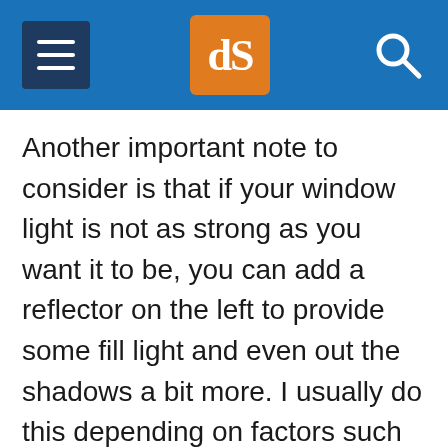dPS navigation header with hamburger menu, logo, and search icon
Another important note to consider is that if your window light is not as strong as you want it to be, you can add a reflector on the left to provide some fill light and even out the shadows a bit more. I usually do this depending on factors such as the strength of natural light coming from the window, what the subject is wearing (e.g., if they have dark clothes which absorb light, I would put a reflector to avoid any sharp change from light to shadow).